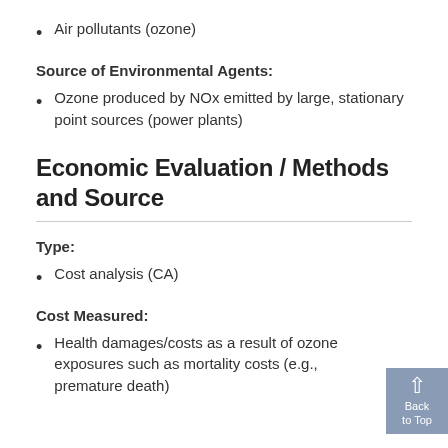Air pollutants (ozone)
Source of Environmental Agents:
Ozone produced by NOx emitted by large, stationary point sources (power plants)
Economic Evaluation / Methods and Source
Type:
Cost analysis (CA)
Cost Measured:
Health damages/costs as a result of ozone exposures such as mortality costs (e.g., premature death)